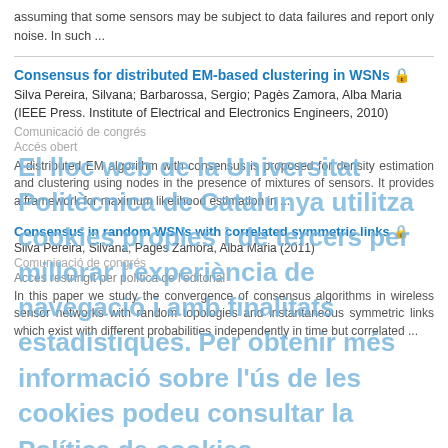assuming that some sensors may be subject to data failures and report only noise. In such ...
Consensus for distributed EM-based clustering in WSNs
Silva Pereira, Silvana; Barbarossa, Sergio; Pagès Zamora, Alba Maria (IEEE Press. Institute of Electrical and Electronics Engineers, 2010)
Comunicació de congrés
Accés obert
A distributed EM algorithm with consensus is proposed for density estimation and clustering using nodes in the presence of mixtures of sensors. It provides a framework for maximum likelihood estimation in ...
Consensus in random WSNs with correlated symmetric links
Silva Pereira, Silvana; Pagès Zamora, Alba Maria (2011)
Comunicació de congrés
Accés restringit per política de l'editorial
In this paper we study the convergence of consensus algorithms in wireless sensor networks with random topologies and instantaneous symmetric links which exist with different probabilities independently in time but correlated ...